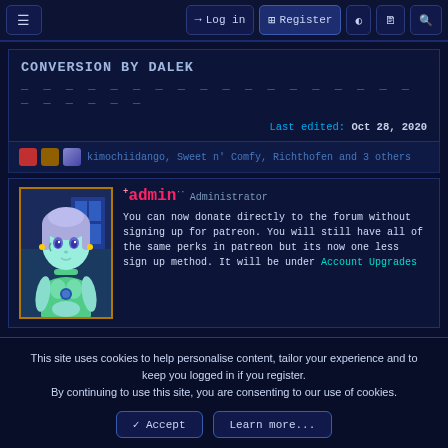≡   → Log in   ⊞ Register   ◑   🗋   🔍
CONVERSION BY DALEK
— — — — — — — — — — — — — — — — — — — — — —
Last edited: Oct 28, 2020
kimochiidango, Sweet n' Comfy, Richthofen and 3 others
admin Administrator
You can now donate directly to the forum without signing up for patreon. You will still have all of the same perks in patreon but its now one less sign up method. It will be under Account Upgrades
This site uses cookies to help personalise content, tailor your experience and to keep you logged in if you register.
By continuing to use this site, you are consenting to our use of cookies.
✓ Accept   Learn more...